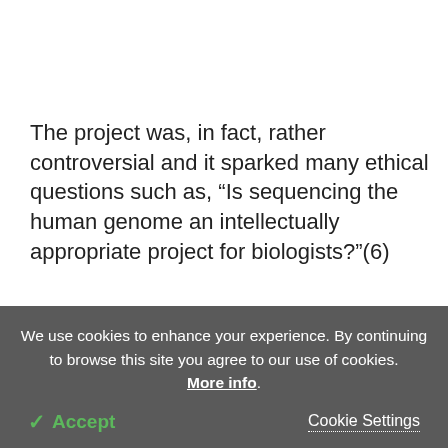The project was, in fact, rather controversial and it sparked many ethical questions such as, “Is sequencing the human genome an intellectually appropriate project for biologists?”(6)
Some people feel uneasy about the investigation of
We use cookies to enhance your experience. By continuing to browse this site you agree to our use of cookies. More info.